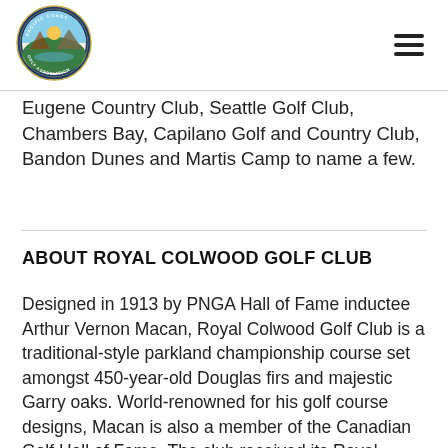[Figure (logo): Pacific Coast Golf Association circular logo with blue border, mountain and sunrise imagery, and text reading PACIFIC COAST GOLF ASSOCIATION]
Eugene Country Club, Seattle Golf Club, Chambers Bay, Capilano Golf and Country Club, Bandon Dunes and Martis Camp to name a few.
ABOUT ROYAL COLWOOD GOLF CLUB
Designed in 1913 by PNGA Hall of Fame inductee Arthur Vernon Macan, Royal Colwood Golf Club is a traditional-style parkland championship course set amongst 450-year-old Douglas firs and majestic Garry oaks. World-renowned for his golf course designs, Macan is also a member of the Canadian Golf Hall of Fame. The club received its Royal designation from King George V in